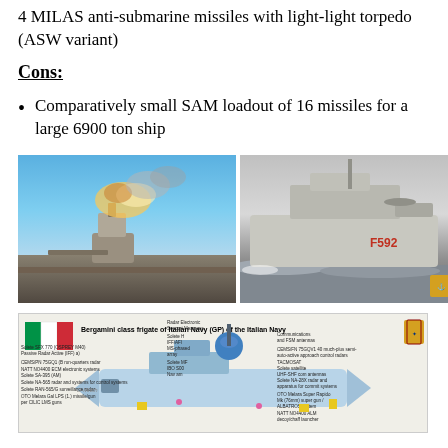4 MILAS anti-submarine missiles with light-light torpedo (ASW variant)
Cons:
Comparatively small SAM loadout of 16 missiles for a large 6900 ton ship
[Figure (photo): Naval gun firing on a warship deck, explosion visible, blue sky background]
[Figure (photo): Italian Navy frigate F592 sailing at speed, grey warship with helicopter on deck, Italian Navy emblem visible]
[Figure (infographic): Bergamini class frigate of Italian Navy (GP) of the Italian Navy — labeled diagram showing components including radar systems, weapons, communication systems, with Italian flag and naval crest]